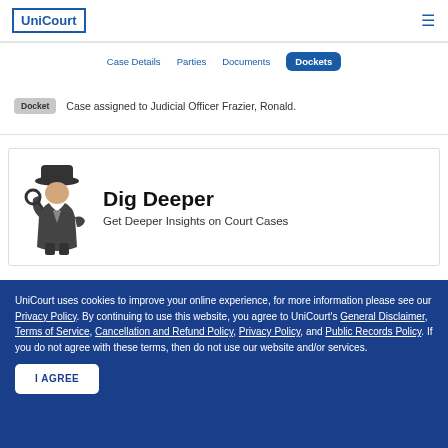UniCourt
Case Details | Parties | Documents | Dockets
Docket   Case assigned to Judicial Officer Frazier, Ronald.
[Figure (illustration): Detective figure illustration for Dig Deeper section]
Dig Deeper
Get Deeper Insights on Court Cases
UniCourt uses cookies to improve your online experience, for more information please see our Privacy Policy. By continuing to use this website, you agree to UniCourt's General Disclaimer, Terms of Service, Cancellation and Refund Policy, Privacy Policy, and Public Records Policy. If you do not agree with these terms, then do not use our website and/or services.
I AGREE